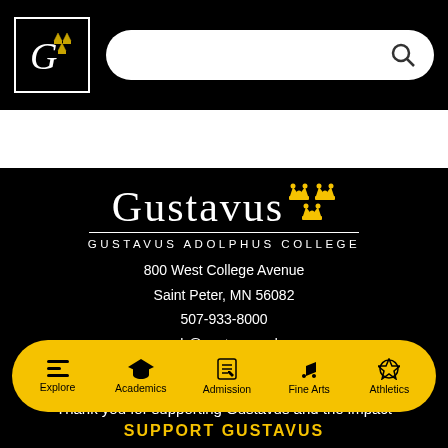[Figure (logo): Gustavus Adolphus College G logo in a square border on black navigation bar with search bar]
[Figure (logo): Gustavus Adolphus College wordmark with three golden crowns, horizontal rule, and subtitle GUSTAVUS ADOLPHUS COLLEGE]
800 West College Avenue
Saint Peter, MN 56082
507-933-8000
web@gustavus.edu
[Figure (infographic): Social media icons: Facebook, Twitter, Instagram, YouTube]
Thank you for supporting Gustavus and the impact
[Figure (infographic): Yellow rounded bottom navigation bar with icons and labels: Explore, Academics, Admission, Fine Arts, Athletics]
SUPPORT GUSTAVUS